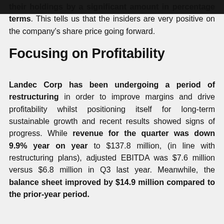their holdings by a significant amount in percentage terms. This tells us that the insiders are very positive on the company's share price going forward.
Focusing on Profitability
Landec Corp has been undergoing a period of restructuring in order to improve margins and drive profitability whilst positioning itself for long-term sustainable growth and recent results showed signs of progress. While revenue for the quarter was down 9.9% year on year to $137.8 million, (in line with restructuring plans), adjusted EBITDA was $7.6 million versus $6.8 million in Q3 last year. Meanwhile, the balance sheet improved by $14.9 million compared to the prior-year period.